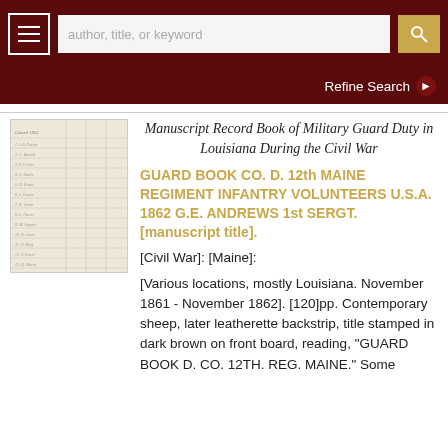author, title, or keyword
Refine Search
[Figure (photo): Thumbnail image of an old handwritten manuscript record book with ruled lines and handwritten entries]
Manuscript Record Book of Military Guard Duty in Louisiana During the Civil War
GUARD BOOK CO. D. 12th MAINE REGIMENT INFANTRY VOLUNTEERS U.S.A. 1862 G.E. ANDREWS 1st SERGT. [manuscript title].
[Civil War]: [Maine]:
[Various locations, mostly Louisiana. November 1861 - November 1862]. [120]pp. Contemporary sheep, later leatherette backstrip, title stamped in dark brown on front board, reading, "GUARD BOOK D. CO. 12TH. REG. MAINE." Some